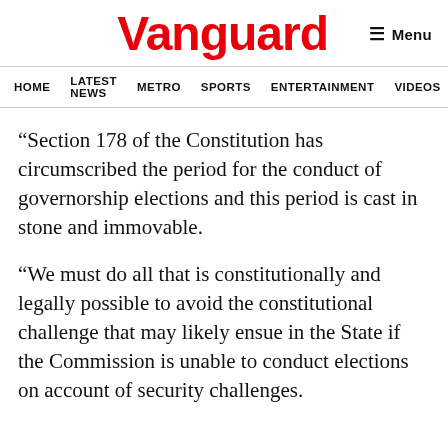Vanguard    ≡ Menu
HOME  LATEST NEWS  METRO  SPORTS  ENTERTAINMENT  VIDEOS
“Section 178 of the Constitution has circumscribed the period for the conduct of governorship elections and this period is cast in stone and immovable.
“We must do all that is constitutionally and legally possible to avoid the constitutional challenge that may likely ensue in the State if the Commission is unable to conduct elections on account of security challenges.